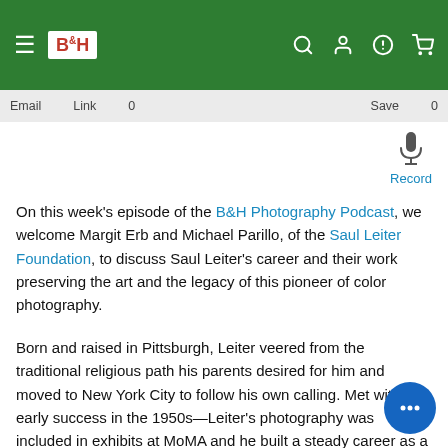B&H [navigation header with logo and icons]
Email   Link   0   Save   0
Record
On this week’s episode of the B&H Photography Podcast, we welcome Margit Erb and Michael Parillo, of the Saul Leiter Foundation, to discuss Saul Leiter’s career and their work preserving the art and the legacy of this pioneer of color photography.
Born and raised in Pittsburgh, Leiter veered from the traditional religious path his parents desired for him and moved to New York City to follow his own calling. Met with early success in the 1950s—Leiter’s photography was included in exhibits at MoMA and he built a steady career as a fashion photographer for Esquire and Harper’s Bazaar—by the 1980s, he was forced to give up his studio and struggled financially, but late in life a huge archive of color street photography, much of which was unseen beyond a few curators and colleagues, became a treasure chest of fine art photography. A painter and